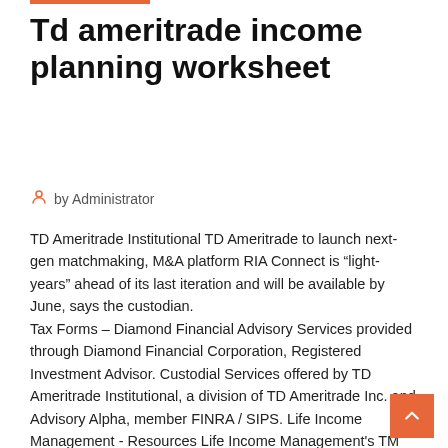Td ameritrade income planning worksheet
by Administrator
TD Ameritrade Institutional TD Ameritrade to launch next-gen matchmaking, M&A platform RIA Connect is “light-years” ahead of its last iteration and will be available by June, says the custodian.
Tax Forms – Diamond Financial Advisory Services provided through Diamond Financial Corporation, Registered Investment Advisor. Custodial Services offered by TD Ameritrade Institutional, a division of TD Ameritrade Inc. and Advisory Alpha, member FINRA / SIPS. Life Income Management - Resources Life Income Management's TM Investment Advisory Services are offered through Brokers International Financial Services, LLC. Member Securities Investor Protection Corporation is known as SIPC. Custodial and Brokerage services for Hfe Income Management TM are offered through